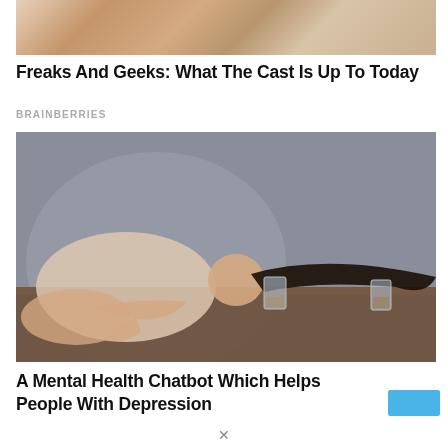[Figure (photo): Partial photo of a person on a bed with floral bedding, cropped at top]
Freaks And Geeks: What The Cast Is Up To Today
BRAINBERRIES
[Figure (photo): A woman in a white tank top lying with her cheek on a wooden table, two glasses of liquid nearby, gray background — editorial/mental health themed photo]
A Mental Health Chatbot Which Helps People With Depression